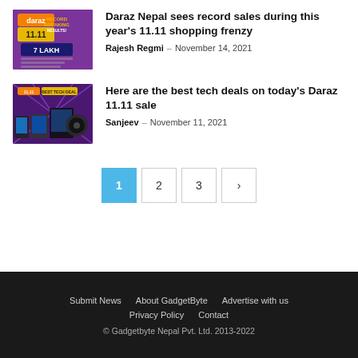[Figure (photo): Daraz 11.11 Record Breaking Results 7 Lakh promotional banner thumbnail]
Daraz Nepal sees record sales during this year's 11.11 shopping frenzy
Rajesh Regmi – November 14, 2021
[Figure (photo): Daraz 11.11 Best Tech Deals promotional banner thumbnail with electronics]
Here are the best tech deals on today's Daraz 11.11 sale
Sanjeev – November 11, 2021
Pagination: 1 (active), 2, 3, >
Submit News   About GadgetByte   Advertise with us   Privacy Policy   Contact   © Gadgetbyte Nepal Pvt. Ltd. 2013-2022